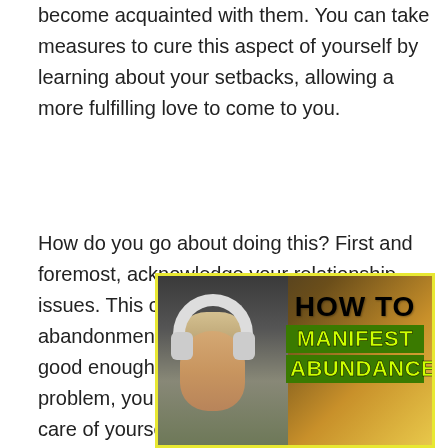become acquainted with them. You can take measures to cure this aspect of yourself by learning about your setbacks, allowing a more fulfilling love to come to you.
How do you go about doing this? First and foremost, acknowledge your relationship issues. This could be a sensation of abandonment, being stuck, or not being good enough. Once you've identified the problem, you may begin to cure it by taking care of yourself in the same way that you've been injured by others.
[Figure (illustration): Advertisement banner with yellow border showing a person wearing white headphones with text 'HOW TO MANIFEST ABUNDANCE' in bold black and green lettering on a warm gradient background.]